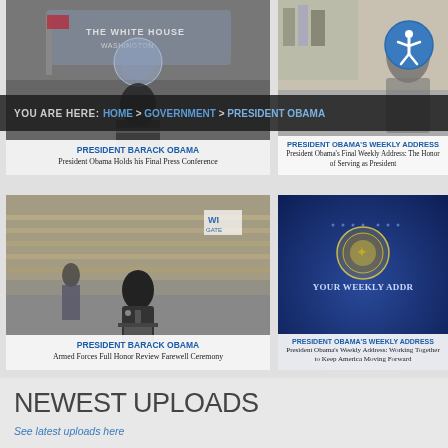[Figure (screenshot): Breadcrumb navigation bar: YOU ARE HERE: HOME > GOVERNMENT > PRESIDENT OBAMA with accessibility icon]
[Figure (photo): Card: President Barack Obama at White House press conference podium]
[Figure (photo): Card: President Obama's Weekly Address (partially cropped on right)]
[Figure (photo): Card: President Barack Obama speaking at Armed Forces Full Honor Review Farewell Ceremony]
[Figure (photo): Card: President Obama's Weekly Address - Working Together to Keep America Moving Forward, dark blue background with presidential seal]
NEWEST UPLOADS
See latest uploads here